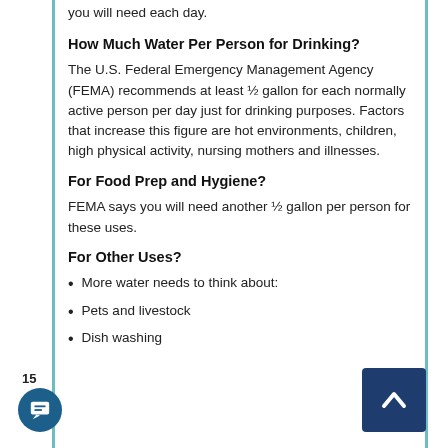you will need each day.
How Much Water Per Person for Drinking?
The U.S. Federal Emergency Management Agency (FEMA) recommends at least ½ gallon for each normally active person per day just for drinking purposes. Factors that increase this figure are hot environments, children, high physical activity, nursing mothers and illnesses.
For Food Prep and Hygiene?
FEMA says you will need another ½ gallon per person for these uses.
For Other Uses?
More water needs to think about:
Pets and livestock
Dish washing
15